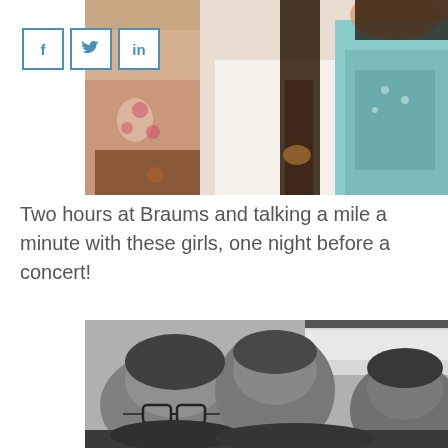[Figure (photo): Color photo of two young women smiling, one in a floral top and one in a teal patterned blouse, taken as a selfie]
[Figure (other): Social media share buttons for Facebook (f), Twitter (bird icon), and LinkedIn (in), with blue borders]
Two hours at Braums and talking a mile a minute with these girls, one night before a concert!
[Figure (photo): Black and white photo of three people close together, one wearing glasses, taken indoors]